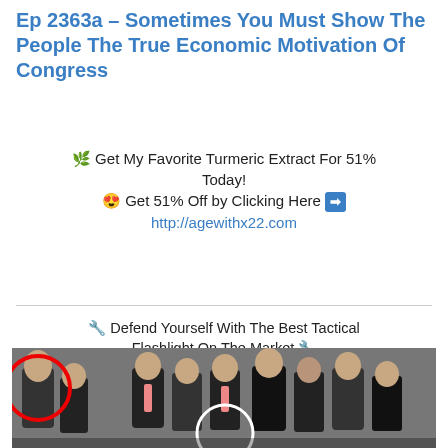Ep 2363a – Sometimes You Must Show The People The True Economic Motivation Of Congress
🌿 Get My Favorite Turmeric Extract For 51% Today!
😍 Get 51% Off by Clicking Here ➡
http://agewithx22.com
🔧 Defend Yourself With The Best Tactical Flashlight On The Market 🔧
➡ Get it Here: http://www.fighterflare.com ⬅
Use Promo Code X20 for 20% OFF
[Figure (photo): Group photo of men in formal attire, one circled in red on the left, another partially circled in white at the bottom center]